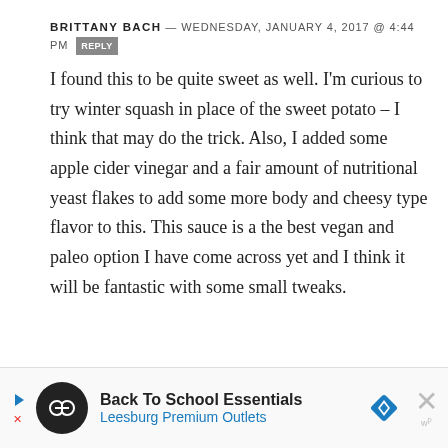BRITTANY BACH — WEDNESDAY, JANUARY 4, 2017 @ 4:44 PM  REPLY
I found this to be quite sweet as well. I'm curious to try winter squash in place of the sweet potato – I think that may do the trick. Also, I added some apple cider vinegar and a fair amount of nutritional yeast flakes to add some more body and cheesy type flavor to this. This sauce is a the best vegan and paleo option I have come across yet and I think it will be fantastic with some small tweaks.
[Figure (infographic): Advertisement banner for Back To School Essentials at Leesburg Premium Outlets, with logo icons and close button]